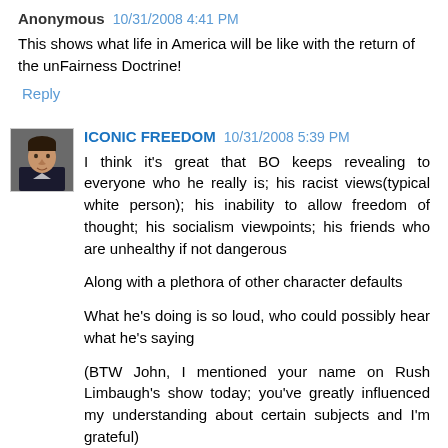Anonymous 10/31/2008 4:41 PM
This shows what life in America will be like with the return of the unFairness Doctrine!
Reply
[Figure (photo): Avatar photo of a young man]
ICONIC FREEDOM 10/31/2008 5:39 PM
I think it's great that BO keeps revealing to everyone who he really is; his racist views(typical white person); his inability to allow freedom of thought; his socialism viewpoints; his friends who are unhealthy if not dangerous
Along with a plethora of other character defaults
What he's doing is so loud, who could possibly hear what he's saying
(BTW John, I mentioned your name on Rush Limbaugh's show today; you've greatly influenced my understanding about certain subjects and I'm grateful)
Reply